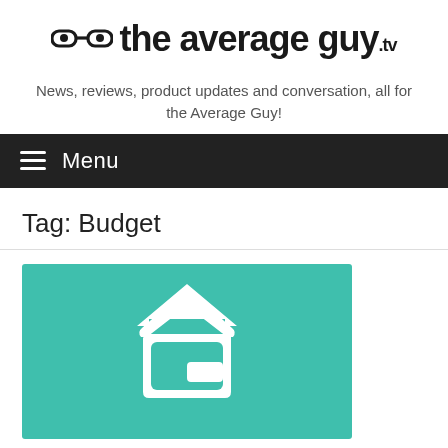[Figure (logo): The Average Guy TV logo with glasses icon and site name]
News, reviews, product updates and conversation, all for the Average Guy!
Menu
Tag: Budget
[Figure (logo): Teal background with white house/home icon logo]